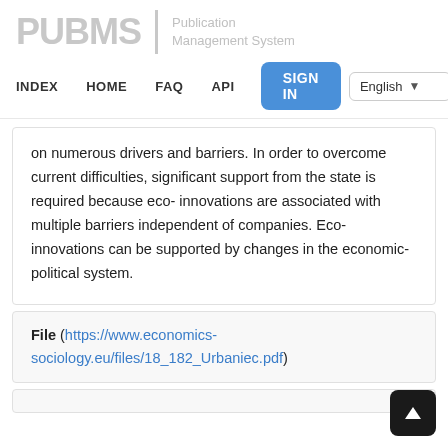PUBMS | Publication Management System — INDEX  HOME  FAQ  API  SIGN IN  English
on numerous drivers and barriers. In order to overcome current difficulties, significant support from the state is required because eco- innovations are associated with multiple barriers independent of companies. Eco-innovations can be supported by changes in the economic-political system.
File (https://www.economics-sociology.eu/files/18_182_Urbaniec.pdf)